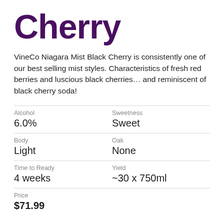Cherry
VineCo Niagara Mist Black Cherry is consistently one of our best selling mist styles. Characteristics of fresh red berries and luscious black cherries... and reminiscent of black cherry soda!
| Alcohol | Sweetness |
| 6.0% | Sweet |
| Body | Oak |
| Light | None |
| Time to Ready | Yield |
| 4 weeks | ~30 x 750ml |
| Price |  |
| $71.99 |  |